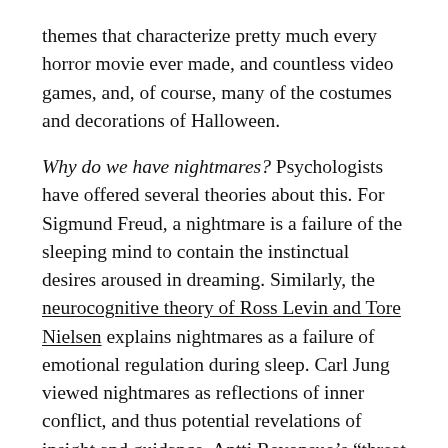themes that characterize pretty much every horror movie ever made, and countless video games, and, of course, many of the costumes and decorations of Halloween.
Why do we have nightmares? Psychologists have offered several theories about this. For Sigmund Freud, a nightmare is a failure of the sleeping mind to contain the instinctual desires aroused in dreaming. Similarly, the neurocognitive theory of Ross Levin and Tore Nielsen explains nightmares as a failure of emotional regulation during sleep. Carl Jung viewed nightmares as reflections of inner conflict, and thus potential revelations of insight and guidance. Antti Revonsuo's “threat simulation theory” focuses on chasing nightmares and their potentially beneficial role in preparing the individual for similar threats in waking life.
The simple fact that nightmares are so common seems